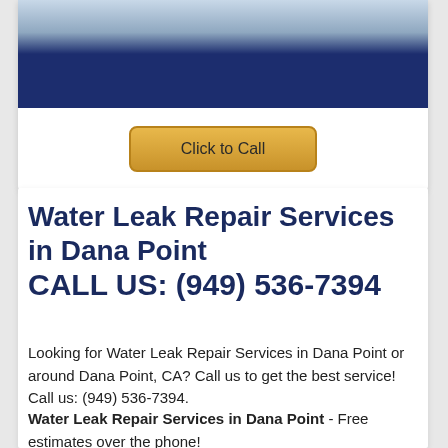[Figure (photo): Photo of a person in a dark blue jacket/uniform crossing arms, plumber or service technician]
Click to Call
Water Leak Repair Services in Dana Point
CALL US: (949) 536-7394
Looking for Water Leak Repair Services in Dana Point or around Dana Point, CA? Call us to get the best service! Call us: (949) 536-7394.
Water Leak Repair Services in Dana Point - Free estimates over the phone!